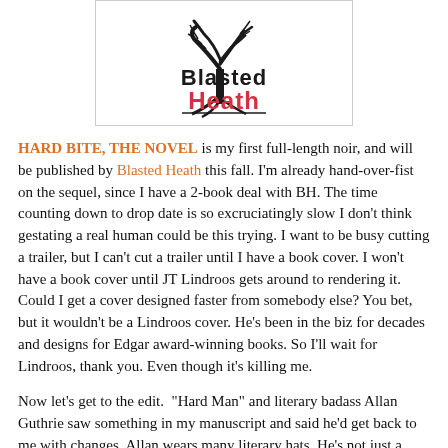[Figure (logo): Blasted Heath publisher logo — stylized bare tree silhouette with 'Blasted Heath' text, 'Blasted' in black, 'Heath' in red/pink, inside a bordered box]
HARD BITE, THE NOVEL is my first full-length noir, and will be published by Blasted Heath this fall. I'm already hand-over-fist on the sequel, since I have a 2-book deal with BH. The time counting down to drop date is so excruciatingly slow I don't think gestating a real human could be this trying. I want to be busy cutting a trailer, but I can't cut a trailer until I have a book cover. I won't have a book cover until JT Lindroos gets around to rendering it. Could I get a cover designed faster from somebody else? You bet, but it wouldn't be a Lindroos cover. He's been in the biz for decades and designs for Edgar award-winning books. So I'll wait for Lindroos, thank you. Even though it's killing me.
Now let's get to the edit. "Hard Man" and literary badass Allan Guthrie saw something in my manuscript and said he'd get back to me with changes. Allan wears many literary hats. He's not just a principal at Blasted Heath e-publishers, he's also a seasoned literary agent, a crime writer, and an Edgar